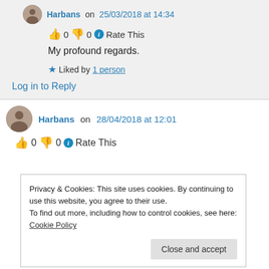Harbans on 25/03/2018 at 14:34
👍 0 👎 0 ℹ Rate This
My profound regards.
★ Liked by 1 person
Log in to Reply
Harbans on 28/04/2018 at 12:01
👍 0 👎 0 ℹ Rate This
Privacy & Cookies: This site uses cookies. By continuing to use this website, you agree to their use.
To find out more, including how to control cookies, see here: Cookie Policy
Close and accept
HARBANS